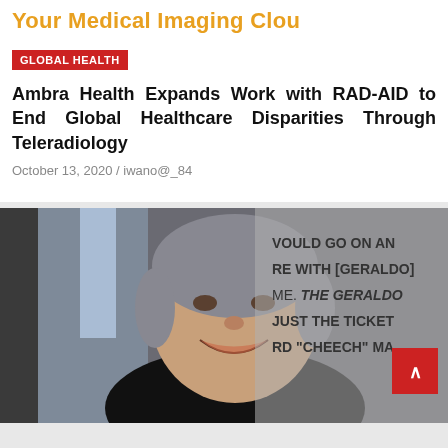Your Medical Imaging Clou
GLOBAL HEALTH
Ambra Health Expands Work with RAD-AID to End Global Healthcare Disparities Through Teleradiology
October 13, 2020 / iwano@_84
[Figure (photo): A smiling middle-aged man with gray hair wearing a black shirt, photographed at an event with text in the background reading parts of: WOULD GO ON AN, RE WITH [GERALDO], ME. THE GERALDO, JUST THE TICKET, RD 'CHEECH' MA...]